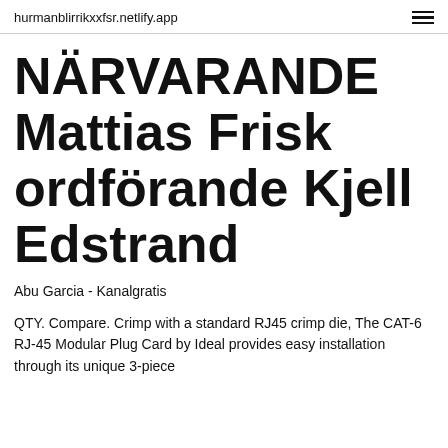hurmanblirrikxxfsr.netlify.app
NÄRVARANDE Mattias Frisk ordförande Kjell Edstrand
Abu Garcia - Kanalgratis
QTY. Compare. Crimp with a standard RJ45 crimp die, The CAT-6 RJ-45 Modular Plug Card by Ideal provides easy installation through its unique 3-piece